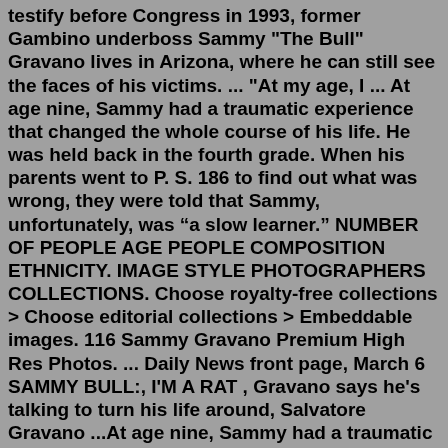testify before Congress in 1993, former Gambino underboss Sammy "The Bull" Gravano lives in Arizona, where he can still see the faces of his victims. ... "At my age, I ... At age nine, Sammy had a traumatic experience that changed the whole course of his life. He was held back in the fourth grade. When his parents went to P. S. 186 to find out what was wrong, they were told that Sammy, unfortunately, was “a slow learner.” NUMBER OF PEOPLE AGE PEOPLE COMPOSITION ETHNICITY. IMAGE STYLE PHOTOGRAPHERS COLLECTIONS. Choose royalty-free collections > Choose editorial collections > Embeddable images. 116 Sammy Gravano Premium High Res Photos. ... Daily News front page, March 6 SAMMY BULL:, I'M A RAT , Gravano says he's talking to turn his life around, Salvatore Gravano ...At age nine, Sammy had a traumatic experience that changed the whole course of his life. He was held back in the fourth grade. When his parents went to P. S. 186 to find out what was wrong, they were told that Sammy, unfortunately,